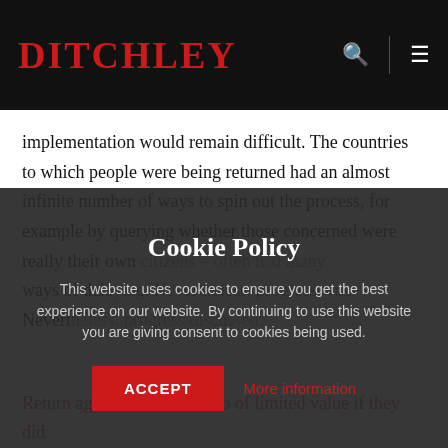DITCHLEY
implementation would remain difficult. The countries to which people were being returned had an almost infinite number of ways to spin out the process, for example by querying whether those concerned were really their own citizens – often having lost or deliberately destroyed. Individuals also had many ways of delaying. Nevertheless, progress was discussed. Return agreements were also of limited value if they did
Cookie Policy
This website uses cookies to ensure you get the best experience on our website. By continuing to use this website you are giving consent to cookies being used.
ACCEPT   More information